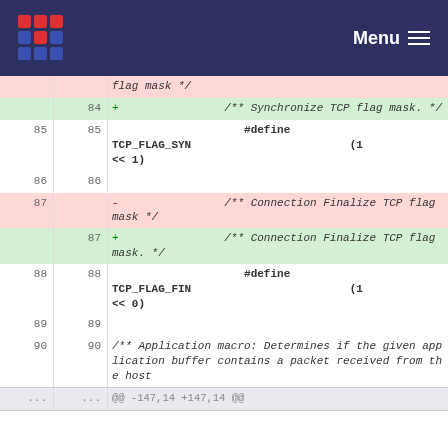Menu
flag mask */
84  +  /** Synchronize TCP flag mask. */
85 85  #define TCP_FLAG_SYN  (1 << 1)
86 86
87  -  /** Connection Finalize TCP flag mask */
87  +  /** Connection Finalize TCP flag mask. */
88 88  #define TCP_FLAG_FIN  (1 << 0)
89 89
90 90  /** Application macro: Determines if the given application buffer contains a packet received from the host
...  ...  @@ -147,14 +147,14 @@